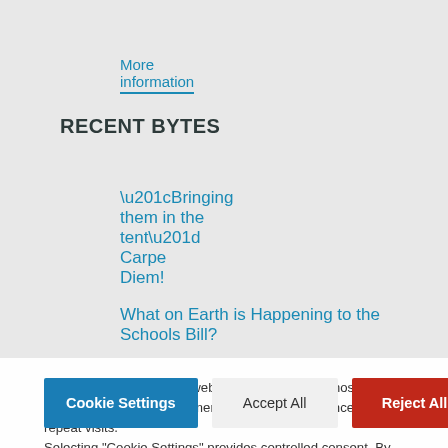More information
RECENT BYTES
“Bringing them in the tent”
Carpe Diem!
What on Earth is Happening to the Schools Bill?
Cookies are used on our website to give you the most relevant experience by remembering your preferences and repeat visits. Selecting "Cookie Settings" provides controlled consent. By clicking “Accept All”, you consent to the use of ALL the cookies. Rejecting all cookies will cause some features not to work. Read more about the use of cookies on this website.
Cookie Settings | Accept All | Reject All